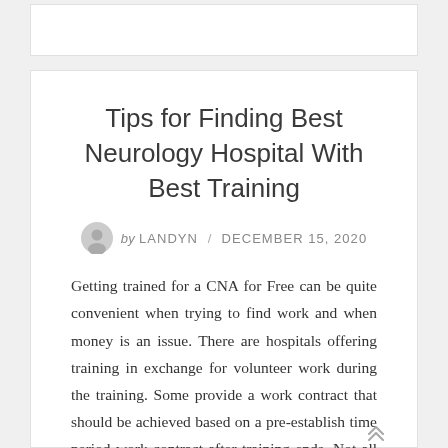Tips for Finding Best Neurology Hospital With Best Training
by LANDYN / DECEMBER 15, 2020
Getting trained for a CNA for Free can be quite convenient when trying to find work and when money is an issue. There are hospitals offering training in exchange for volunteer work during the training. Some provide a work contract that should be achieved based on a pre-establish time period work contract after training ends. Not all hospitals provide CNA training. If you truly need to take